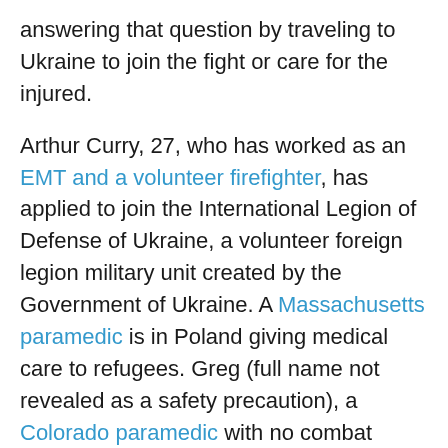answering that question by traveling to Ukraine to join the fight or care for the injured.
Arthur Curry, 27, who has worked as an EMT and a volunteer firefighter, has applied to join the International Legion of Defense of Ukraine, a volunteer foreign legion military unit created by the Government of Ukraine. A Massachusetts paramedic is in Poland giving medical care to refugees. Greg (full name not revealed as a safety precaution), a Colorado paramedic with no combat experience, has acquired body armor and raised more than $1,000 to travel to Ukraine to provide medical care. I am sure there are other first responders, especially those with tactical or special forces experience, who are quietly reviewing opportunities for assignments inside Ukraine.
There is much we can do to show support for the people of Ukraine without leaving our homes, jobs, friends and